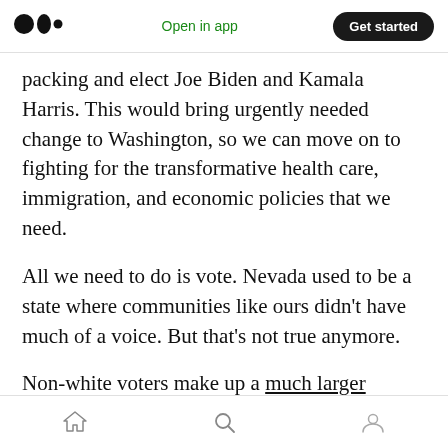Medium logo | Open in app | Get started
packing and elect Joe Biden and Kamala Harris. This would bring urgently needed change to Washington, so we can move on to fighting for the transformative health care, immigration, and economic policies that we need.
All we need to do is vote. Nevada used to be a state where communities like ours didn’t have much of a voice. But that’s not true anymore.
Non-white voters make up a much larger percentage of Nevada voters now than they did as recently as 2000 — making up almost half the
Home | Search | Profile